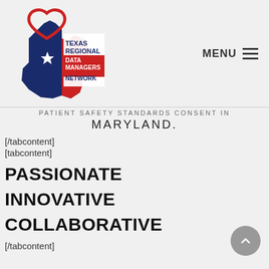[Figure (logo): Texas Regional Data Managers Network logo — Texas state shape in red and blue with a white star and red heart outline]
MENU ≡
PATIENT SAFETY STANDARDS CONSENT IN MARYLAND.
[/tabcontent]
[tabcontent]
PASSIONATE
INNOVATIVE
COLLABORATIVE
[/tabcontent]